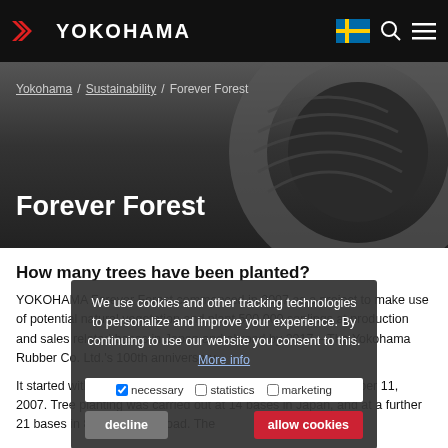YOKOHAMA
[Figure (screenshot): Yokohama website hero banner with tire image background, breadcrumb navigation (Yokohama / Sustainability / Forever Forest) and page title 'Forever Forest']
How many trees have been planted?
YOKOHAMA Forever Forest commenced in 2007 as a project to make use of potential natural vegetation and plant 500,000 saplings at production and sales related bases in Japan and abroad by 2017 – The Yokohama Rubber Co. Ltd.'s 100th anniversary.
It started with tree planting at the Hiratsuka Factory on November 11, 2007. Tree planting was carried out at 14 bases in Japan, and at a further 21 bases in 8 countries abroad. The
We use cookies and other tracking technologies to personalize and improve your experience. By continuing to use our website you consent to this. More info
necessary  statistics  marketing
decline   allow cookies